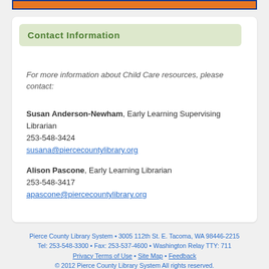[Figure (other): Top banner with orange bar and blue border]
Contact Information
For more information about Child Care resources, please contact:
Susan Anderson-Newham, Early Learning Supervising Librarian
253-548-3424
susana@piercecountylibrary.org
Alison Pascone, Early Learning Librarian
253-548-3417
apascone@piercecountylibrary.org
Pierce County Library System • 3005 112th St. E. Tacoma, WA 98446-2215
Tel: 253-548-3300 • Fax: 253-537-4600 • Washington Relay TTY: 711
Privacy Terms of Use • Site Map • Feedback
© 2012 Pierce County Library System All rights reserved.